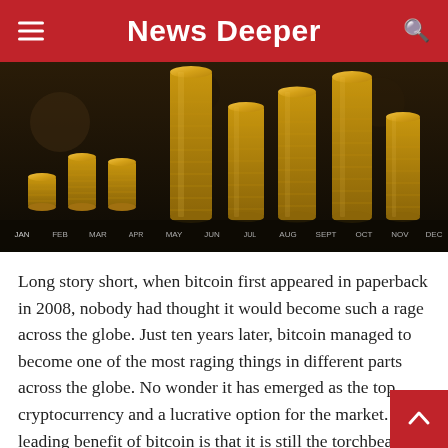News Deeper
[Figure (photo): Stacked gold coins arranged in ascending height columns against a dark background, with month labels (JAN through DEC) visible along the bottom edge suggesting a price chart overlay.]
Long story short, when bitcoin first appeared in paperback in 2008, nobody had thought it would become such a rage across the globe. Just ten years later, bitcoin managed to become one of the most raging things in different parts across the globe. No wonder it has emerged as the top cryptocurrency and a lucrative option for the market. The leading benefit of bitcoin is that it is still the torchbearer of the cryptocurrency market. However, it is limi[ted to] 21 million in supply, which might not be very